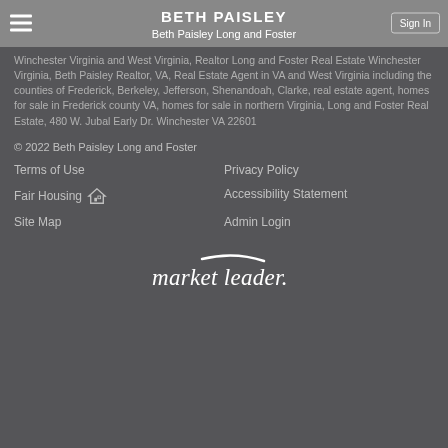BETH PAISLEY
Beth Paisley Long and Foster
Winchester Virginia and West Virginia, Realtor Long and Foster Real Estate Winchester Virginia, Beth Paisley Realtor, VA, Real Estate Agent in VA and West Virginia including the counties of Frederick, Berkeley, Jefferson, Shenandoah, Clarke, real estate agent, homes for sale in Frederick county VA, homes for sale in northern Virginia, Long and Foster Real Estate, 480 W. Jubal Early Dr. Winchester VA 22601
© 2022 Beth Paisley Long and Foster
Terms of Use
Privacy Policy
Fair Housing
Accessibility Statement
Site Map
Admin Login
[Figure (logo): market leader. logo in white italic text with swoosh accent]